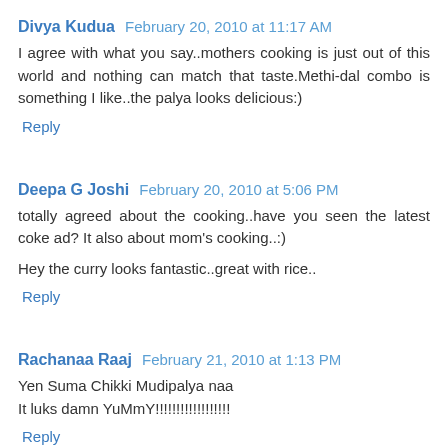Divya Kudua February 20, 2010 at 11:17 AM
I agree with what you say..mothers cooking is just out of this world and nothing can match that taste.Methi-dal combo is something I like..the palya looks delicious:)
Reply
Deepa G Joshi February 20, 2010 at 5:06 PM
totally agreed about the cooking..have you seen the latest coke ad? It also about mom's cooking..:)
Hey the curry looks fantastic..great with rice..
Reply
Rachanaa Raaj February 21, 2010 at 1:13 PM
Yen Suma Chikki Mudipalya naa
It luks damn YuMmY!!!!!!!!!!!!!!!!!!
Reply